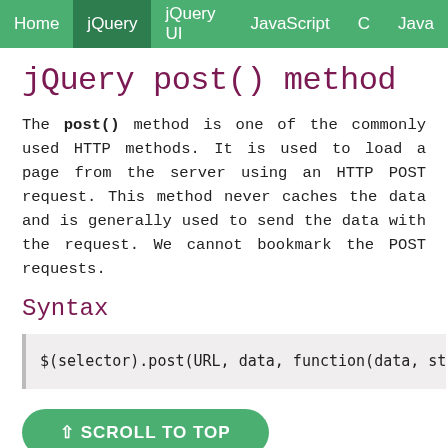Home  jQuery  jQuery UI  JavaScript  C  Java
jQuery post() method
The post() method is one of the commonly used HTTP methods. It is used to load a page from the server using an HTTP POST request. This method never caches the data and is generally used to send the data with the request. We cannot bookmark the POST requests.
Syntax
$(selector).post(URL, data, function(data, status, x
⇧ SCROLL TO TOP